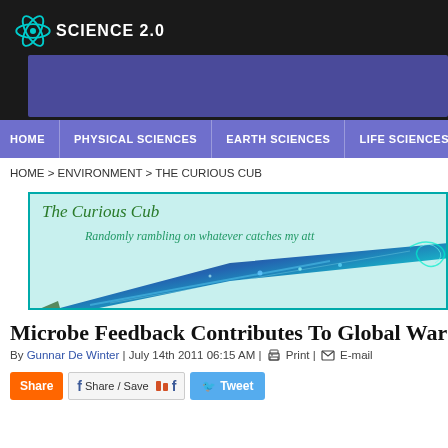Science 2.0
[Figure (screenshot): Science 2.0 website screenshot showing logo, navigation bar, breadcrumb, The Curious Cub blog banner, and article header for 'Microbe Feedback Contributes To Global Warming']
HOME > ENVIRONMENT > THE CURIOUS CUB
Microbe Feedback Contributes To Global Warmir...
By Gunnar De Winter | July 14th 2011 06:15 AM | Print | E-mail